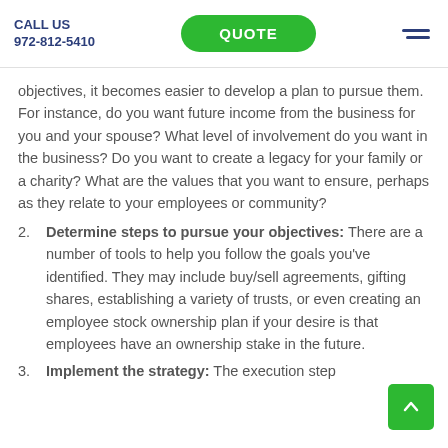CALL US 972-812-5410 | QUOTE | [menu]
objectives, it becomes easier to develop a plan to pursue them. For instance, do you want future income from the business for you and your spouse? What level of involvement do you want in the business? Do you want to create a legacy for your family or a charity? What are the values that you want to ensure, perhaps as they relate to your employees or community?
2. Determine steps to pursue your objectives: There are a number of tools to help you follow the goals you've identified. They may include buy/sell agreements, gifting shares, establishing a variety of trusts, or even creating an employee stock ownership plan if your desire is that employees have an ownership stake in the future.
3. Implement the strategy: The execution step